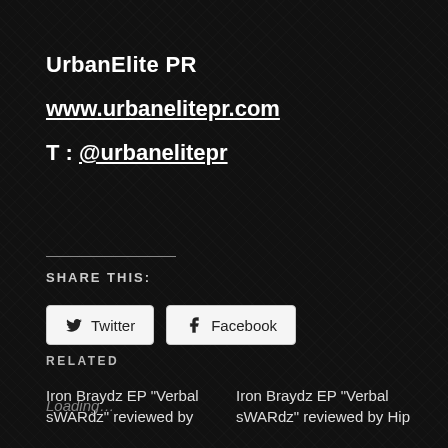UrbanElite PR
www.urbanelitepr.com
T : @urbanelitepr
SHARE THIS:
Loading...
RELATED
Iron Braydz EP “Verbal sWARdz” reviewed by
Iron Braydz EP “Verbal sWARdz” reviewed by Hip